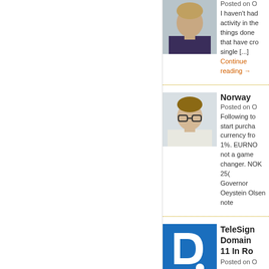[Figure (photo): Portrait photo of a man in dark shirt, light background]
Posted on O
I haven't had activity in the things done that have cro single [...] Continue reading →
[Figure (photo): Portrait photo of a young man with glasses]
Norway
Posted on O
Following to start purcha currency fro 1%. EURNO not a game changer. NOK 25( Governor Oeystein Olsen note
[Figure (logo): TeleSign logo - blue square with white letter D and dot]
TeleSign Domain 11 In Ro
Posted on O
TeleSign Co